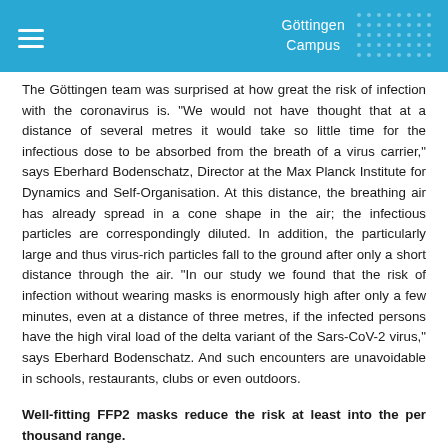Göttingen Campus
The Göttingen team was surprised at how great the risk of infection with the coronavirus is. "We would not have thought that at a distance of several metres it would take so little time for the infectious dose to be absorbed from the breath of a virus carrier," says Eberhard Bodenschatz, Director at the Max Planck Institute for Dynamics and Self-Organisation. At this distance, the breathing air has already spread in a cone shape in the air; the infectious particles are correspondingly diluted. In addition, the particularly large and thus virus-rich particles fall to the ground after only a short distance through the air. "In our study we found that the risk of infection without wearing masks is enormously high after only a few minutes, even at a distance of three metres, if the infected persons have the high viral load of the delta variant of the Sars-CoV-2 virus," says Eberhard Bodenschatz. And such encounters are unavoidable in schools, restaurants, clubs or even outdoors.
Well-fitting FFP2 masks reduce the risk at least into the per thousand range.